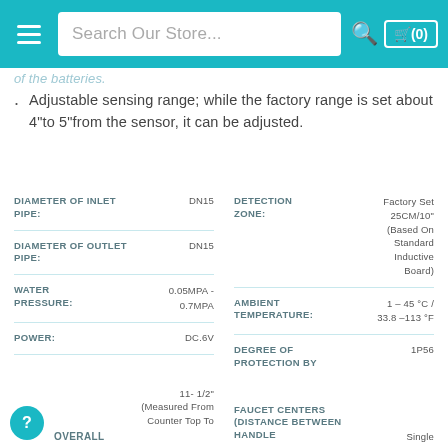Search Our Store...
of the batteries.
Adjustable sensing range; while the factory range is set about 4"to 5"from the sensor, it can be adjusted.
| Spec | Value |
| --- | --- |
| DIAMETER OF INLET PIPE: | DN15 |
| DIAMETER OF OUTLET PIPE: | DN15 |
| WATER PRESSURE: | 0.05MPA - 0.7MPA |
| POWER: | DC.6V |
| DETECTION ZONE: | FACTORY SET 25CM/10" (BASED ON STANDARD INDUCTIVE BOARD) |
| AMBIENT TEMPERATURE: | 1 - 45 °C / 33.8 -113 °F |
| DEGREE OF PROTECTION BY ENCLOSURE: | 1P56 |
OVERALL
11- 1/2" (MEASURED FROM COUNTER TOP TO
FAUCET CENTERS (DISTANCE BETWEEN HANDLE
SINGLE